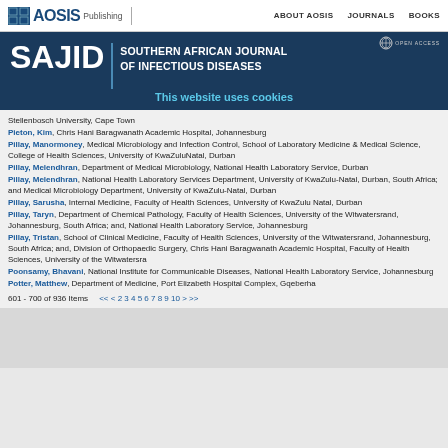AOSIS Publishing | ABOUT AOSIS | JOURNALS | BOOKS
SAJID | SOUTHERN AFRICAN JOURNAL OF INFECTIOUS DISEASES
This website uses cookies
Stellenbosch University, Cape Town
Pieton, Kim, Chris Hani Baragwanath Academic Hospital, Johannesburg
Pillay, Manormoney, Medical Microbiology and Infection Control, School of Laboratory Medicine & Medical Science, College of Health Sciences, University of KwaZuluNatal, Durban
Pillay, Melendhran, Department of Medical Microbiology, National Health Laboratory Service, Durban
Pillay, Melendhran, National Health Laboratory Services Department, University of KwaZulu-Natal, Durban, South Africa; and Medical Microbiology Department, University of KwaZulu-Natal, Durban
Pillay, Sarusha, Internal Medicine, Faculty of Health Sciences, University of KwaZulu Natal, Durban
Pillay, Taryn, Department of Chemical Pathology, Faculty of Health Sciences, University of the Witwatersrand, Johannesburg, South Africa; and, National Health Laboratory Service, Johannesburg
Pillay, Tristan, School of Clinical Medicine, Faculty of Health Sciences, University of the Witwatersrand, Johannesburg, South Africa; and, Division of Orthopaedic Surgery, Chris Hani Baragwanath Academic Hospital, Faculty of Health Sciences, University of the Witwatersra
Poonsamy, Bhavani, National Institute for Communicable Diseases, National Health Laboratory Service, Johannesburg
Potter, Matthew, Department of Medicine, Port Elizabeth Hospital Complex, Gqeberha
601 - 700 of 936 Items    << < 2 3 4 5 6 7 8 9 10 > >>